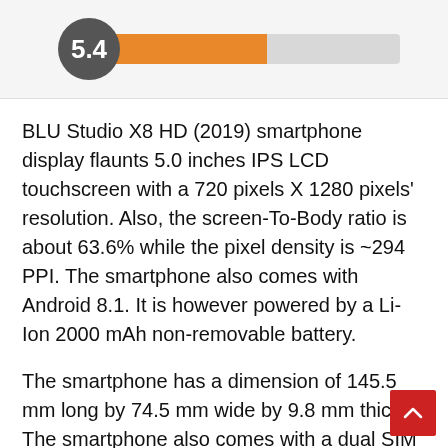[Figure (infographic): Rating score widget showing a dark grey circle with '5.4' score and an orange progress bar on a grey track, set against a light grey background panel.]
BLU Studio X8 HD (2019) smartphone display flaunts 5.0 inches IPS LCD touchscreen with a 720 pixels X 1280 pixels' resolution. Also, the screen-To-Body ratio is about 63.6% while the pixel density is ~294 PPI. The smartphone also comes with Android 8.1. It is however powered by a Li-Ion 2000 mAh non-removable battery.
The smartphone has a dimension of 145.5 mm long by 74.5 mm wide by 9.8 mm thick. The smartphone also comes with a dual SIM (mini-SIM, dual stand-by).